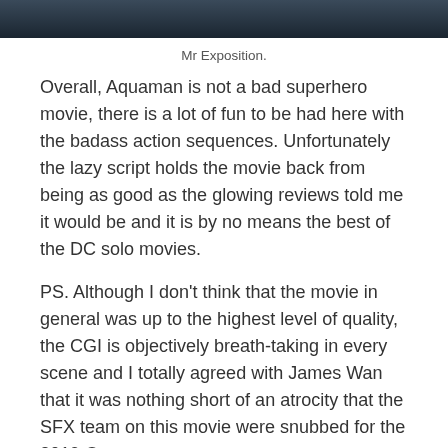[Figure (photo): A dark-toned movie still image strip at the top of the page]
Mr Exposition.
Overall, Aquaman is not a bad superhero movie, there is a lot of fun to be had here with the badass action sequences. Unfortunately the lazy script holds the movie back from being as good as the glowing reviews told me it would be and it is by no means the best of the DC solo movies.
PS. Although I don't think that the movie in general was up to the highest level of quality, the CGI is objectively breath-taking in every scene and I totally agreed with James Wan that it was nothing short of an atrocity that the SFX team on this movie were snubbed for the 2019 Oscars ceremony.
[yasr_multiset setid=2]
[yasr_visitor_multiset setid=2]